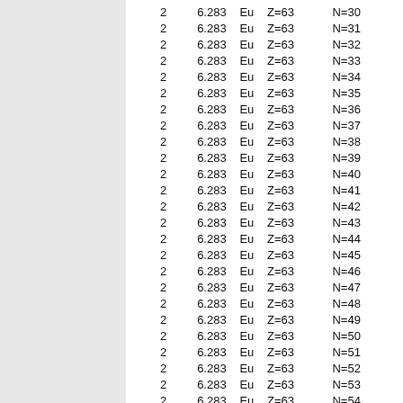|  |  |  |  |  |
| --- | --- | --- | --- | --- |
| 2 | 6.283 | Eu | Z=63 | N=30 |
| 2 | 6.283 | Eu | Z=63 | N=31 |
| 2 | 6.283 | Eu | Z=63 | N=32 |
| 2 | 6.283 | Eu | Z=63 | N=33 |
| 2 | 6.283 | Eu | Z=63 | N=34 |
| 2 | 6.283 | Eu | Z=63 | N=35 |
| 2 | 6.283 | Eu | Z=63 | N=36 |
| 2 | 6.283 | Eu | Z=63 | N=37 |
| 2 | 6.283 | Eu | Z=63 | N=38 |
| 2 | 6.283 | Eu | Z=63 | N=39 |
| 2 | 6.283 | Eu | Z=63 | N=40 |
| 2 | 6.283 | Eu | Z=63 | N=41 |
| 2 | 6.283 | Eu | Z=63 | N=42 |
| 2 | 6.283 | Eu | Z=63 | N=43 |
| 2 | 6.283 | Eu | Z=63 | N=44 |
| 2 | 6.283 | Eu | Z=63 | N=45 |
| 2 | 6.283 | Eu | Z=63 | N=46 |
| 2 | 6.283 | Eu | Z=63 | N=47 |
| 2 | 6.283 | Eu | Z=63 | N=48 |
| 2 | 6.283 | Eu | Z=63 | N=49 |
| 2 | 6.283 | Eu | Z=63 | N=50 |
| 2 | 6.283 | Eu | Z=63 | N=51 |
| 2 | 6.283 | Eu | Z=63 | N=52 |
| 2 | 6.283 | Eu | Z=63 | N=53 |
| 2 | 6.283 | Eu | Z=63 | N=54 |